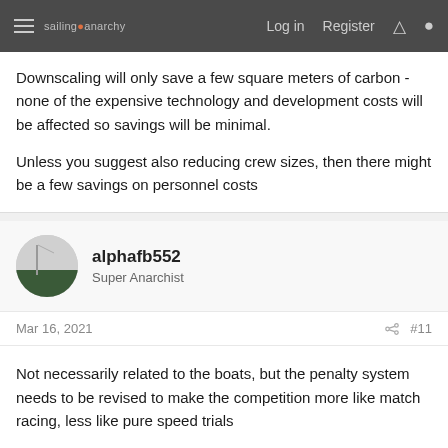sailing anarchy  Log in  Register
Downscaling will only save a few square meters of carbon - none of the expensive technology and development costs will be affected so savings will be minimal.
Unless you suggest also reducing crew sizes, then there might be a few savings on personnel costs
alphafb552
Super Anarchist
Mar 16, 2021  #11
Not necessarily related to the boats, but the penalty system needs to be revised to make the competition more like match racing, less like pure speed trials